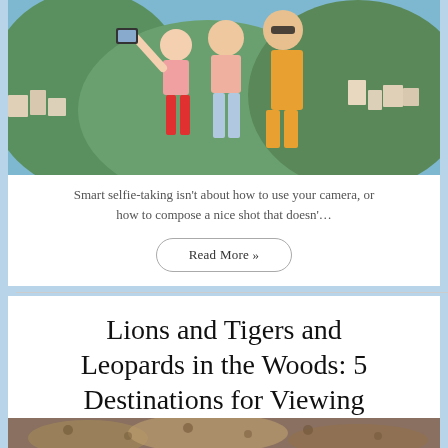[Figure (photo): Three women or girls taking a selfie outdoors, wearing pink and orange summer clothing, with a Mediterranean hillside town in the background]
Smart selfie-taking isn't about how to use your camera, or how to compose a nice shot that doesn'…
Read More »
Lions and Tigers and Leopards in the Woods: 5 Destinations for Viewing Big Cats
[Figure (photo): Partial photo of big cat (leopard or similar) visible at bottom of page]